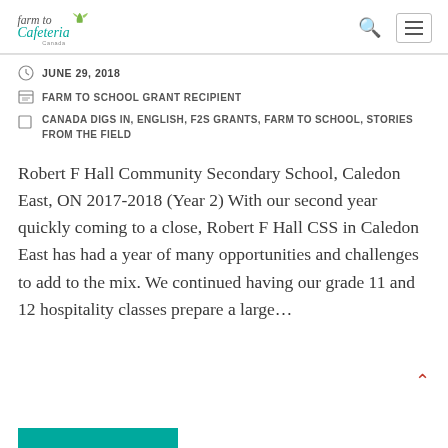farm to Cafeteria Canada
JUNE 29, 2018
FARM TO SCHOOL GRANT RECIPIENT
CANADA DIGS IN, ENGLISH, F2S GRANTS, FARM TO SCHOOL, STORIES FROM THE FIELD
Robert F Hall Community Secondary School, Caledon East, ON 2017-2018 (Year 2) With our second year quickly coming to a close, Robert F Hall CSS in Caledon East has had a year of many opportunities and challenges to add to the mix. We continued having our grade 11 and 12 hospitality classes prepare a large…